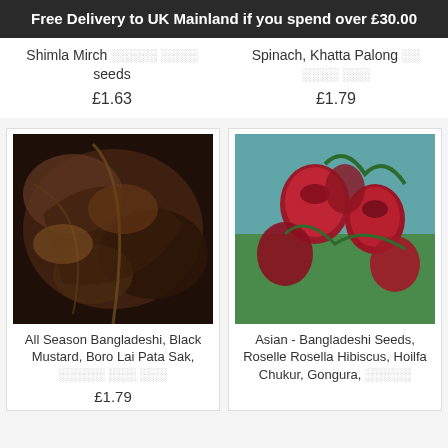Free Delivery to UK Mainland if you spend over £30.00
Shimla Mirch [non-latin] seeds
£1.63
Spinach, Khatta Palong [non-latin] [non-latin]
£1.79
[Figure (photo): Close-up photo of dark reddish-purple leafy plant (Boro Lai Pata Sak / Black Mustard leaves)]
[Figure (photo): Photo of red roselle hibiscus buds/pods on green branches against blue sky]
All Season Bangladeshi, Black Mustard, Boro Lai Pata Sak, [non-latin]
£1.79
Asian - Bangladeshi Seeds, Roselle Rosella Hibiscus, Hoilfa Chukur, Gongura, [non-latin]